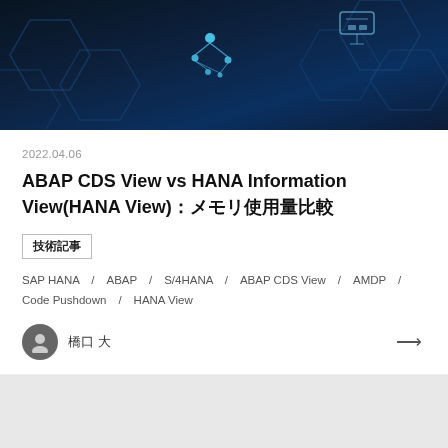[Figure (illustration): Dark blue technology hero banner with hexagonal network pattern and molecule/network icons]
2022.04.06
ABAP CDS View vs HANA Information View(HANA View)：メモリ使用量比較
技術記事
SAP HANA　/　ABAP　/　S/4HANA　/　ABAP CDS View　/　AMDP　/　Code Pushdown　/　HANA View
橋口 大
[Figure (other): Gray placeholder card area at bottom]